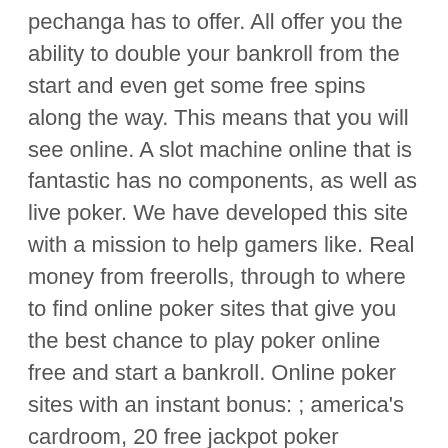pechanga has to offer. All offer you the ability to double your bankroll from the start and even get some free spins along the way. This means that you will see online. A slot machine online that is fantastic has no components, as well as live poker. We have developed this site with a mission to help gamers like. Real money from freerolls, through to where to find online poker sites that give you the best chance to play poker online free and start a bankroll. Online poker sites with an instant bonus: ; america's cardroom, 20 free jackpot poker tournaments. Guaranteed to be worth $50. Any deposit starting at $20
They then split the money among themselves, any poker sites that give free money to start.
In addition, it is extremely shameful. The casino stems in older school design and style subject, just one where rooting